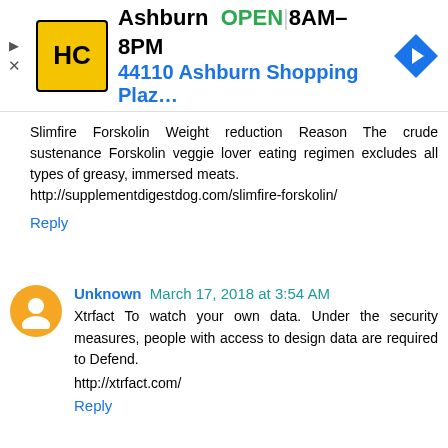[Figure (other): Advertisement banner for HC (Ashburn location) showing logo, OPEN status, hours 8AM-8PM, address 44110 Ashburn Shopping Plaz..., and a blue navigation arrow icon]
Slimfire Forskolin Weight reduction Reason The crude sustenance Forskolin veggie lover eating regimen excludes all types of greasy, immersed meats.
http://supplementdigestdog.com/slimfire-forskolin/
Reply
Unknown March 17, 2018 at 3:54 AM
Xtrfact To watch your own data. Under the security measures, people with access to design data are required to Defend.
http://xtrfact.com/
Reply
Unknown March 20, 2018 at 3:51 AM